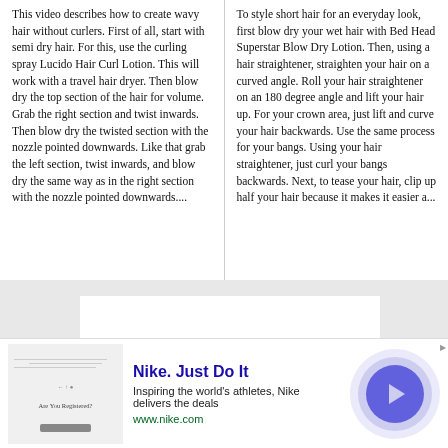This video describes how to create wavy hair without curlers. First of all, start with semi dry hair. For this, use the curling spray Lucido Hair Curl Lotion. This will work with a travel hair dryer. Then blow dry the top section of the hair for volume. Grab the right section and twist inwards. Then blow dry the twisted section with the nozzle pointed downwards. Like that grab the left section, twist inwards, and blow dry the same way as in the right section with the nozzle pointed downwards....
To style short hair for an everyday look, first blow dry your wet hair with Bed Head Superstar Blow Dry Lotion. Then, using a hair straightener, straighten your hair on a curved angle. Roll your hair straightener on an 180 degree angle and lift your hair up. For your crown area, just lift and curve your hair backwards. Use the same process for your bangs. Using your hair straightener, just curl your bangs backwards. Next, to tease your hair, clip up half your hair because it makes it easier a...
[Figure (other): Gray background section with white rectangle box in the center]
[Figure (other): Nike advertisement banner with logo image, Nike Just Do It text, description, URL, and blue arrow circle button]